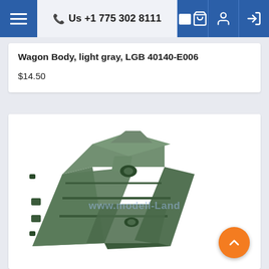Us +1 775 302 8111
Wagon Body, light gray, LGB 40140-E006
$14.50
[Figure (photo): Light gray model train wagon body part (LGB 40140-E006), angular frame structure photographed at an angle on white background, with www.modell-land watermark overlay]